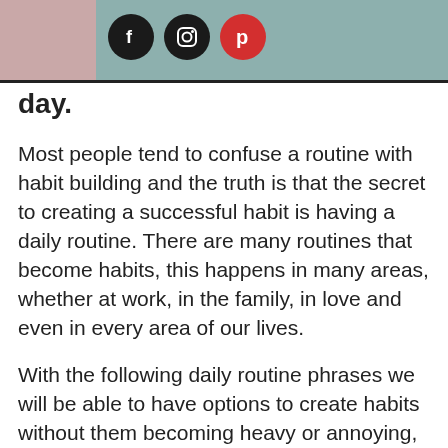[Figure (other): Social media header bar with Facebook, Instagram, and Pinterest icons on a teal/mauve background]
day.
Most people tend to confuse a routine with habit building and the truth is that the secret to creating a successful habit is having a daily routine. There are many routines that become habits, this happens in many areas, whether at work, in the family, in love and even in every area of our lives.
With the following daily routine phrases we will be able to have options to create habits without them becoming heavy or annoying, and that, in the long run, they will become habits in our lives.